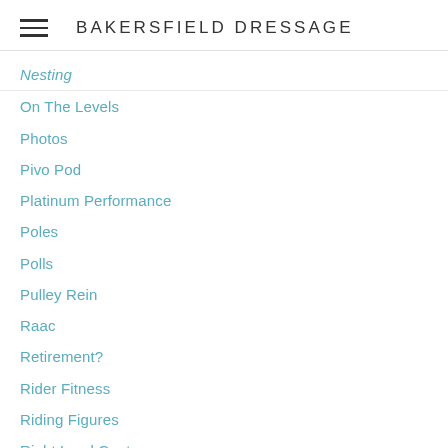BAKERSFIELD DRESSAGE
Nesting
On The Levels
Photos
Pivo Pod
Platinum Performance
Poles
Polls
Pulley Rein
Raac
Retirement?
Rider Fitness
Riding Figures
Right Lead Canter
Road ID
Saddle Fitting
Schooling
Score Sheets
Second Level